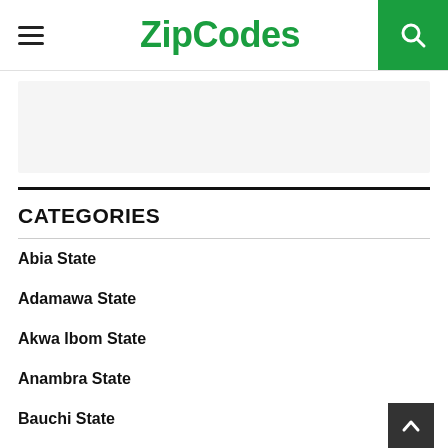ZipCodes
CATEGORIES
Abia State
Adamawa State
Akwa Ibom State
Anambra State
Bauchi State
Bayelsa State
Benue State
Borno State